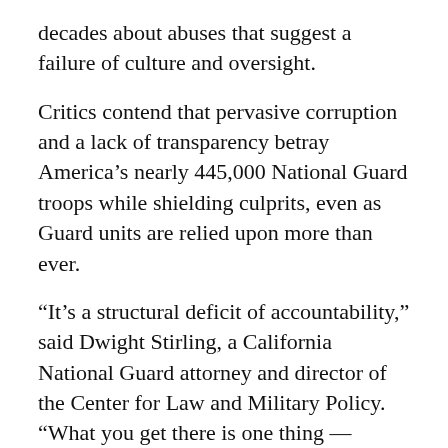decades about abuses that suggest a failure of culture and oversight.
Critics contend that pervasive corruption and a lack of transparency betray America’s nearly 445,000 National Guard troops while shielding culprits, even as Guard units are relied upon more than ever.
“It’s a structural deficit of accountability,” said Dwight Stirling, a California National Guard attorney and director of the Center for Law and Military Policy. “What you get there is one thing — corruption.”